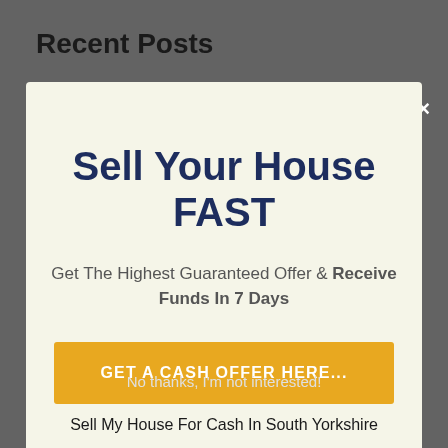Recent Posts
[Figure (screenshot): Modal popup overlay on a dark grey webpage background with close (×) button]
Sell Your House FAST
Get The Highest Guaranteed Offer & Receive Funds In 7 Days
GET A CASH OFFER HERE...
No thanks, I'm not interested!
Sell My House For Cash In South Yorkshire